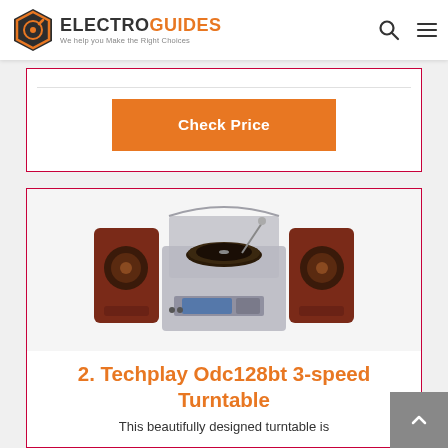ELECTROGUIDES — We help you Make the Right Choices
[Figure (other): Check Price button (orange) inside a white card with red border]
[Figure (photo): Techplay Odc128bt 3-speed Turntable product photo showing a record player with two speakers on either side and an open lid]
2. Techplay Odc128bt 3-speed Turntable
This beautifully designed turntable is